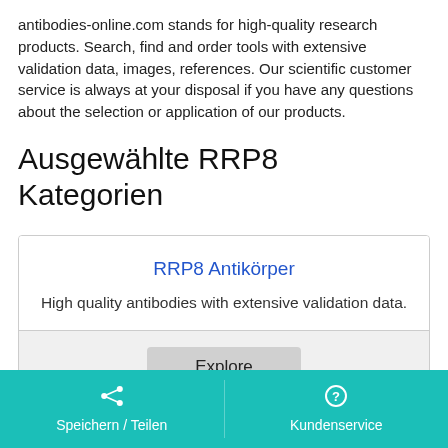antibodies-online.com stands for high-quality research products. Search, find and order tools with extensive validation data, images, references. Our scientific customer service is always at your disposal if you have any questions about the selection or application of our products.
Ausgewählte RRP8 Kategorien
RRP8 Antikörper
High quality antibodies with extensive validation data.
Explore
Speichern / Teilen | Kundenservice